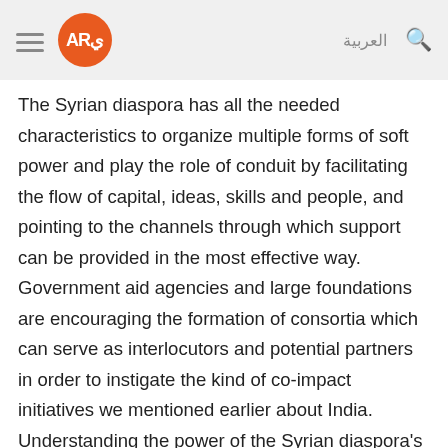AR العربية [search]
The Syrian diaspora has all the needed characteristics to organize multiple forms of soft power and play the role of conduit by facilitating the flow of capital, ideas, skills and people, and pointing to the channels through which support can be provided in the most effective way. Government aid agencies and large foundations are encouraging the formation of consortia which can serve as interlocutors and potential partners in order to instigate the kind of co-impact initiatives we mentioned earlier about India. Understanding the power of the Syrian diaspora's resources and tapping into its financial and intellectual capital is an effective way of leveraging the support of other non-Syrian actors -